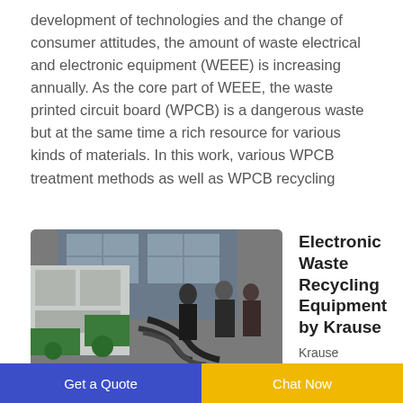development of technologies and the change of consumer attitudes, the amount of waste electrical and electronic equipment (WEEE) is increasing annually. As the core part of WEEE, the waste printed circuit board (WPCB) is a dangerous waste but at the same time a rich resource for various kinds of materials. In this work, various WPCB treatment methods as well as WPCB recycling
[Figure (photo): Workers operating electronic waste recycling machinery in an industrial workshop]
Electronic Waste Recycling Equipment by Krause
Krause
Get a Quote   Chat Now